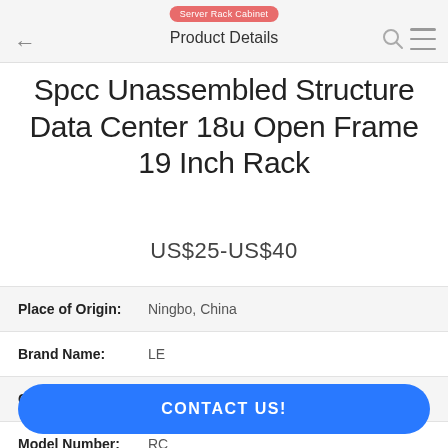Server Rack Cabinet — Product Details
Spcc Unassembled Structure Data Center 18u Open Frame 19 Inch Rack
US$25-US$40
| Field | Value |
| --- | --- |
| Place of Origin: | Ningbo, China |
| Brand Name: | LE |
| Certification: | CE/ISO/ROHS/TUV |
| Model Number: | RC |
CONTACT US!